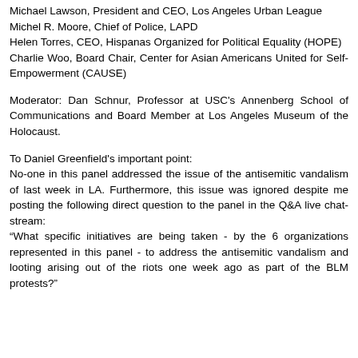Michael Lawson, President and CEO, Los Angeles Urban League
Michel R. Moore, Chief of Police, LAPD
Helen Torres, CEO, Hispanas Organized for Political Equality (HOPE)
Charlie Woo, Board Chair, Center for Asian Americans United for Self-Empowerment (CAUSE)
Moderator: Dan Schnur, Professor at USC's Annenberg School of Communications and Board Member at Los Angeles Museum of the Holocaust.
To Daniel Greenfield's important point:
No-one in this panel addressed the issue of the antisemitic vandalism of last week in LA. Furthermore, this issue was ignored despite me posting the following direct question to the panel in the Q&A live chat-stream:
"What specific initiatives are being taken - by the 6 organizations represented in this panel - to address the antisemitic vandalism and looting arising out of the riots one week ago as part of the BLM protests?"